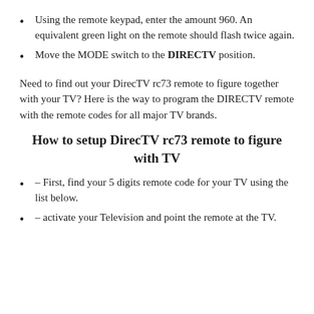Using the remote keypad, enter the amount 960. An equivalent green light on the remote should flash twice again.
Move the MODE switch to the DIRECTV position.
Need to find out your DirecTV rc73 remote to figure together with your TV? Here is the way to program the DIRECTV remote with the remote codes for all major TV brands.
How to setup DirecTV rc73 remote to figure with TV
– First, find your 5 digits remote code for your TV using the list below.
– activate your Television and point the remote at the TV.